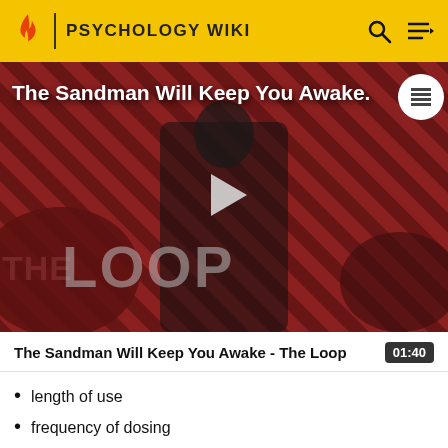PSYCHOLOGY WIKI
[Figure (screenshot): Video thumbnail for 'The Sandman Will Keep You Awake - The Loop' showing a dark-cloaked figure against a red and black diagonal striped background with 'THE LOOP' text overlaid and a play button in the center]
The Sandman Will Keep You Awake - The Loop  01:40
length of use
frequency of dosing
method of withdrawal[11]